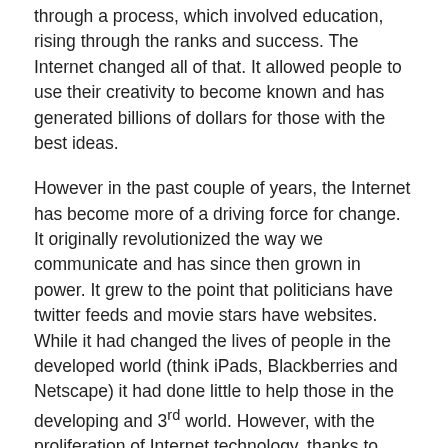through a process, which involved education, rising through the ranks and success. The Internet changed all of that. It allowed people to use their creativity to become known and has generated billions of dollars for those with the best ideas.
However in the past couple of years, the Internet has become more of a driving force for change. It originally revolutionized the way we communicate and has since then grown in power. It grew to the point that politicians have twitter feeds and movie stars have websites. While it had changed the lives of people in the developed world (think iPads, Blackberries and Netscape) it had done little to help those in the developing and 3rd world. However, with the proliferation of Internet technology, thanks to smartphone and mobile computing, this has changed.
As we have seen over the past months, the Internet in the hands of people with a message is able to bring about change. The people of Syria, Iran, and Egypt (among others) began to rally using the Internet as a conduit to spread their message and gain support.
The people of Egypt have successfully overthrown their